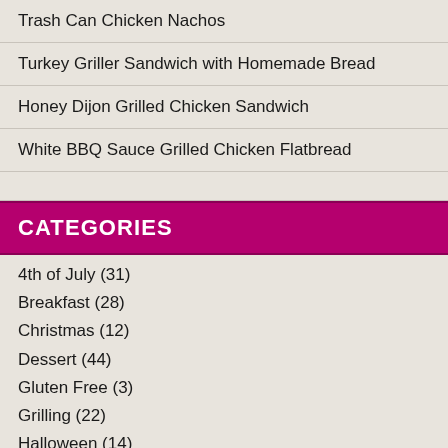Trash Can Chicken Nachos
Turkey Griller Sandwich with Homemade Bread
Honey Dijon Grilled Chicken Sandwich
White BBQ Sauce Grilled Chicken Flatbread
CATEGORIES
4th of July (31)
Breakfast (28)
Christmas (12)
Dessert (44)
Gluten Free (3)
Grilling (22)
Halloween (14)
Holidays (79)
Labor Day Weekend (32)
Memorial Day Weekend (31)